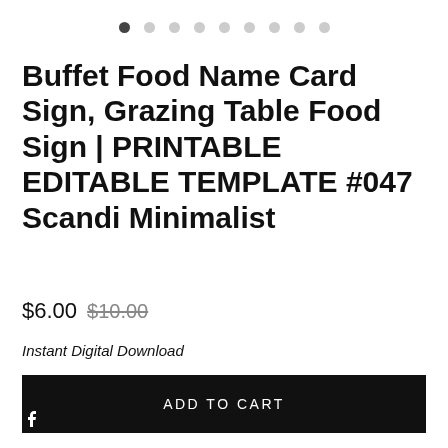[Figure (other): Pagination dots — one filled dark dot followed by eight light/empty dots in a horizontal row]
Buffet Food Name Card Sign, Grazing Table Food Sign | PRINTABLE EDITABLE TEMPLATE #047 Scandi Minimalist
$6.00 $10.00
Instant Digital Download
ADD TO CART
Ask a question